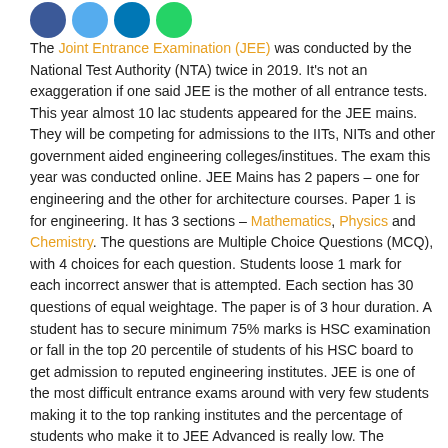[Figure (other): Row of four social media share icon circles: Facebook (dark blue), Twitter (light blue), LinkedIn (blue), WhatsApp (green)]
The Joint Entrance Examination (JEE) was conducted by the National Test Authority (NTA) twice in 2019. It's not an exaggeration if one said JEE is the mother of all entrance tests. This year almost 10 lac students appeared for the JEE mains. They will be competing for admissions to the IITs, NITs and other government aided engineering colleges/institues. The exam this year was conducted online. JEE Mains has 2 papers – one for engineering and the other for architecture courses. Paper 1 is for engineering. It has 3 sections – Mathematics, Physics and Chemistry. The questions are Multiple Choice Questions (MCQ), with 4 choices for each question. Students loose 1 mark for each incorrect answer that is attempted. Each section has 30 questions of equal weightage. The paper is of 3 hour duration. A student has to secure minimum 75% marks is HSC examination or fall in the top 20 percentile of students of his HSC board to get admission to reputed engineering institutes. JEE is one of the most difficult entrance exams around with very few students making it to the top ranking institutes and the percentage of students who make it to JEE Advanced is really low. The permanent debate in the mind of students is to what extent online coaching classes will be beneficial to them to prepare for JEE. Here is a brief synopsis –